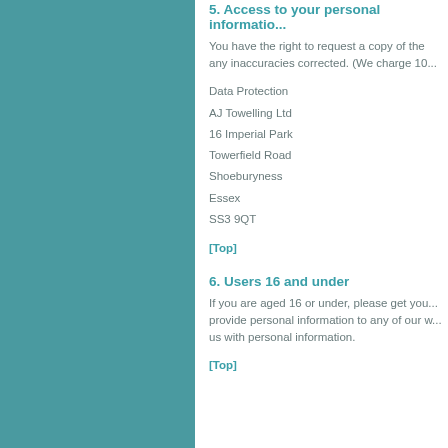5. Access to your personal informatio...
You have the right to request a copy of the any inaccuracies corrected. (We charge 10...
Data Protection
AJ Towelling Ltd
16 Imperial Park
Towerfield Road
Shoeburyness
Essex
SS3 9QT
[Top]
6. Users 16 and under
If you are aged 16 or under, please get you... provide personal information to any of our w... us with personal information.
[Top]